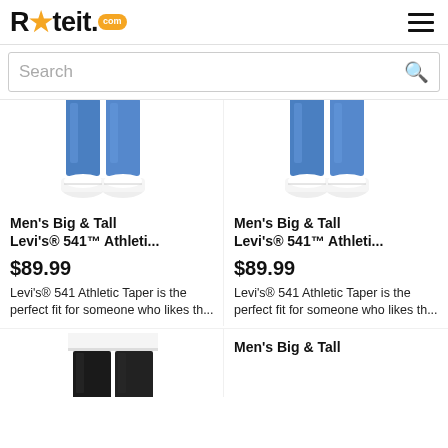Rateit.com
Search
[Figure (photo): Lower half of a person wearing blue jeans and white sneakers - product image 1]
Men's Big & Tall Levi's® 541™ Athleti...
$89.99
Levi's® 541 Athletic Taper is the perfect fit for someone who likes th...
[Figure (photo): Lower half of a person wearing blue jeans and white sneakers - product image 2]
Men's Big & Tall Levi's® 541™ Athleti...
$89.99
Levi's® 541 Athletic Taper is the perfect fit for someone who likes th...
[Figure (photo): Partial view of black pants/jeans product]
Men's Big & Tall